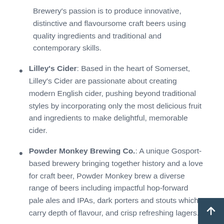Brewery's passion is to produce innovative, distinctive and flavoursome craft beers using quality ingredients and traditional and contemporary skills.
Lilley's Cider: Based in the heart of Somerset, Lilley's Cider are passionate about creating modern English cider, pushing beyond traditional styles by incorporating only the most delicious fruit and ingredients to make delightful, memorable cider.
Powder Monkey Brewing Co.: A unique Gosport-based brewery bringing together history and a love for craft beer, Powder Monkey brew a diverse range of beers including impactful hop-forward pale ales and IPAs, dark porters and stouts which carry depth of flavour, and crisp refreshing lagers.
Vibrant Forest Brewery: A small brewery located the New Forest, Vibrant Forest's passion is to brew